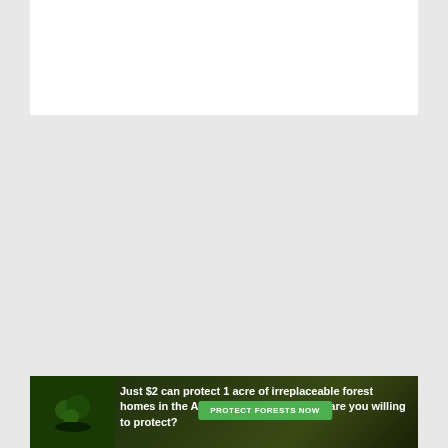[Figure (other): White advertisement placeholder box at top of page]
[Figure (other): Ezoic ad unit area with gray background, ezoic logo (green circular icon with checkmark and 'ezoic' text) on left, 'report this ad' link on right]
Archive
September 2021 (11)
August 2021 (53)
[Figure (other): Green forest advertisement banner: 'Just $2 can protect 1 acre of irreplaceable forest homes in the Amazon. How many acres are you willing to protect?' with 'PROTECT FORESTS NOW' button]